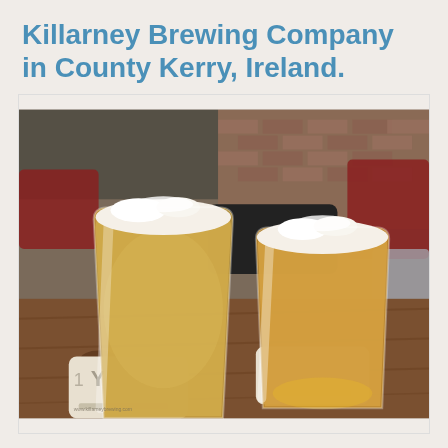Killarney Brewing Company in County Kerry, Ireland.
[Figure (photo): Two pint glasses of beer on a wooden table at Killarney Brewing Company. The left glass contains a hazy, cloudy pale ale or wheat beer with a white foam head. The right glass contains a clearer golden lager/ale with a white foam head. Both glasses sit on branded coasters. In the background are red bar chairs, a brick wall, and a black bag on the table.]